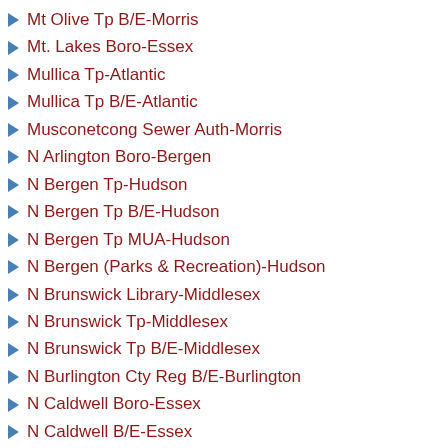Mt Olive Tp B/E-Morris
Mt. Lakes Boro-Essex
Mullica Tp-Atlantic
Mullica Tp B/E-Atlantic
Musconetcong Sewer Auth-Morris
N Arlington Boro-Bergen
N Bergen Tp-Hudson
N Bergen Tp B/E-Hudson
N Bergen Tp MUA-Hudson
N Bergen (Parks & Recreation)-Hudson
N Brunswick Library-Middlesex
N Brunswick Tp-Middlesex
N Brunswick Tp B/E-Middlesex
N Burlington Cty Reg B/E-Burlington
N Caldwell Boro-Essex
N Caldwell B/E-Essex
N Haledon Boro-Passaic
N Haledon B/E-Passaic
N Hanover Tp-Burlington
N Hanover Tp B/E-Burlington
N Highlands Boro B/E-Bergen